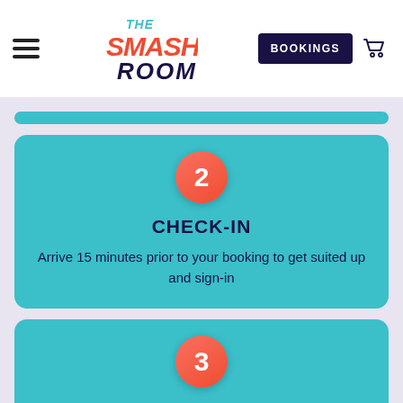The Smash Room — navigation bar with hamburger menu, logo, BOOKINGS button, and cart icon
2
CHECK-IN
Arrive 15 minutes prior to your booking to get suited up and sign-in
3
GET SMASHING